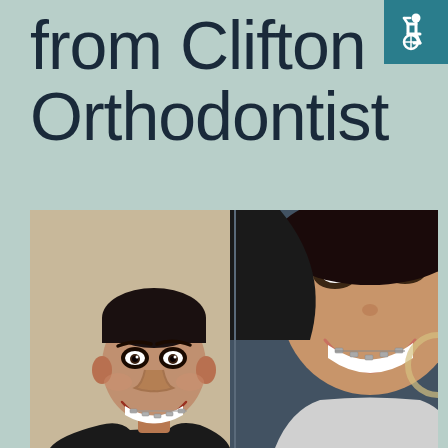from Clifton Orthodontist
[Figure (photo): Accessibility icon (wheelchair symbol) on teal/dark cyan background in top right corner]
[Figure (photo): Photo of a teenage boy with braces smiling, standing in front of a large poster image of a woman with braces smiling, taken inside an orthodontic office]